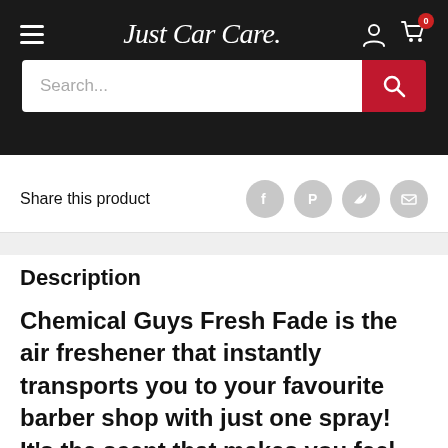[Figure (screenshot): Just Car Care website header with hamburger menu, logo in cursive script, user account icon, and shopping cart with badge showing 0]
[Figure (screenshot): Search bar with placeholder text 'Search...' and a red search button with magnifying glass icon]
Share this product
[Figure (infographic): Social share icons: Facebook, Pinterest, Twitter, Email — all in grey circles]
Description
Chemical Guys Fresh Fade is the air freshener that instantly transports you to your favourite barber shop with just one spray! It's the scent that makes you feel like a million